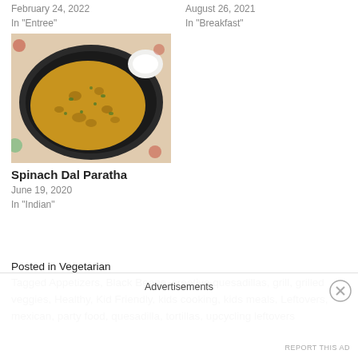February 24, 2022
In "Entree"
August 26, 2021
In "Breakfast"
[Figure (photo): Overhead photo of Spinach Dal Paratha on a decorated plate with a side of white cream, set on a colorful floral tablecloth]
Spinach Dal Paratha
June 19, 2020
In "Indian"
Posted in Vegetarian
Tagged Appetizers, Black Beans, creative quesadillas, grill, grilled veggies, Healthy, Kid Friendly, kids cooking, kids meals, Leftovers, mexican, party food, quesadilla, tortillas, upcycling leftovers
Advertisements